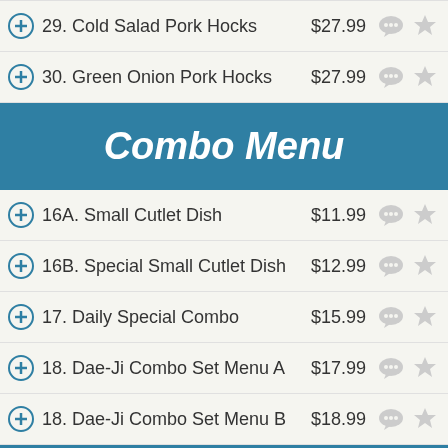29. Cold Salad Pork Hocks $27.99
30. Green Onion Pork Hocks $27.99
Combo Menu
16A. Small Cutlet Dish $11.99
16B. Special Small Cutlet Dish $12.99
17. Daily Special Combo $15.99
18. Dae-Ji Combo Set Menu A $17.99
18. Dae-Ji Combo Set Menu B $18.99
A la Carte
39. Stir-Fried Spicy Chicken $24.99